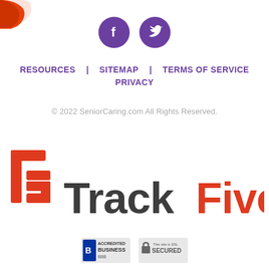[Figure (logo): Partial orange/red logo shape (swoosh/leaf) in top-left corner]
[Figure (illustration): Two purple circular social media icons: Facebook (f) and Twitter (bird)]
RESOURCES   SITEMAP   TERMS OF SERVICE
PRIVACY
© 2022 SeniorCaring.com All Rights Reserved.
[Figure (logo): TrackFive logo with orange T5 symbol and dark gray 'Track' with orange 'Five' wordmark]
[Figure (logo): BBB Accredited Business badge and SSL Secured badge]